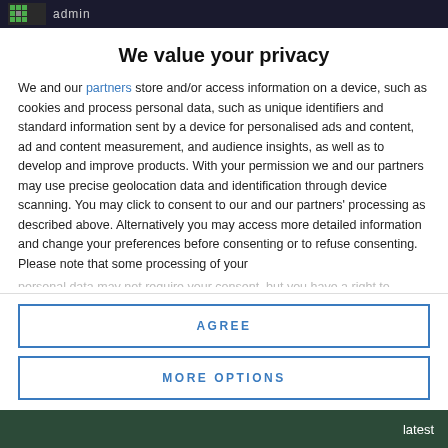admin
We value your privacy
We and our partners store and/or access information on a device, such as cookies and process personal data, such as unique identifiers and standard information sent by a device for personalised ads and content, ad and content measurement, and audience insights, as well as to develop and improve products. With your permission we and our partners may use precise geolocation data and identification through device scanning. You may click to consent to our and our partners' processing as described above. Alternatively you may access more detailed information and change your preferences before consenting or to refuse consenting. Please note that some processing of your personal data may not require your consent, but you have a right to
AGREE
MORE OPTIONS
latest